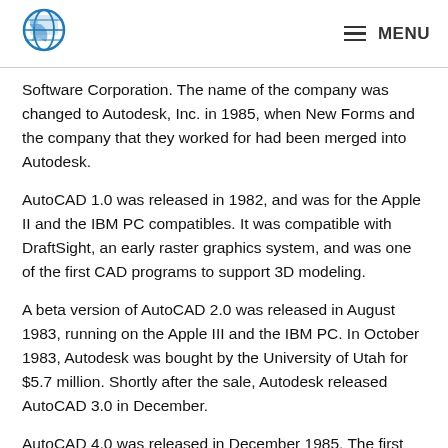MENU
Software Corporation. The name of the company was changed to Autodesk, Inc. in 1985, when New Forms and the company that they worked for had been merged into Autodesk.
AutoCAD 1.0 was released in 1982, and was for the Apple II and the IBM PC compatibles. It was compatible with DraftSight, an early raster graphics system, and was one of the first CAD programs to support 3D modeling.
A beta version of AutoCAD 2.0 was released in August 1983, running on the Apple III and the IBM PC. In October 1983, Autodesk was bought by the University of Utah for $5.7 million. Shortly after the sale, Autodesk released AutoCAD 3.0 in December.
AutoCAD 4.0 was released in December 1985. The first version of the Windows-compatible AutoCAD 4 was released